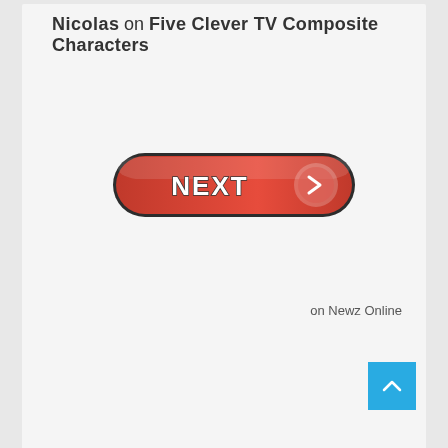Nicolas on Five Clever TV Composite Characters
[Figure (illustration): A red pill-shaped NEXT button with bold white text 'NEXT' on the left and a circular arrow icon on the right, with a dark border outline.]
on Newz Online
[Figure (illustration): Blue square back-to-top button with a white upward-pointing chevron/caret arrow.]